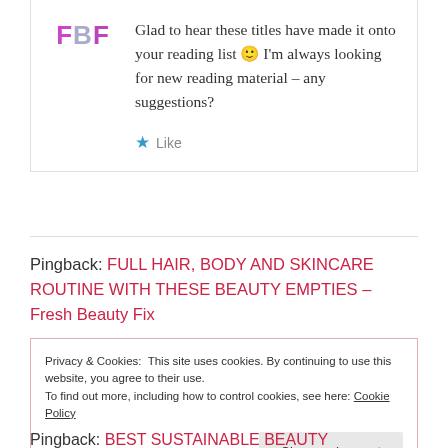FBF — Glad to hear these titles have made it onto your reading list 🙂 I'm always looking for new reading material – any suggestions?
★ Like
Pingback: FULL HAIR, BODY AND SKINCARE ROUTINE WITH THESE BEAUTY EMPTIES – Fresh Beauty Fix
Privacy & Cookies: This site uses cookies. By continuing to use this website, you agree to their use. To find out more, including how to control cookies, see here: Cookie Policy
Close and accept
Pingback: BEST SUSTAINABLE BEAUTY DISCOVERIES OF